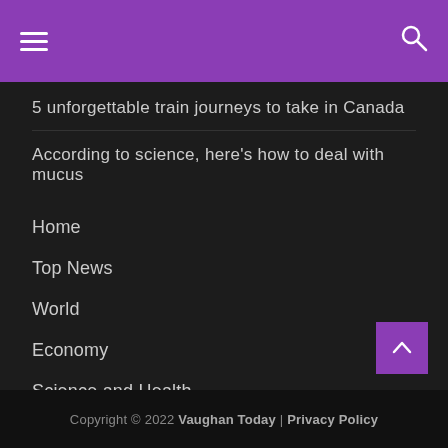☰  🔍
5 unforgettable train journeys to take in Canada
According to science, here's how to deal with mucus
Home
Top News
World
Economy
Science and Health
Technology
sport
entertainment
Contact Form
Copyright © 2022 Vaughan Today  |  Privacy Policy